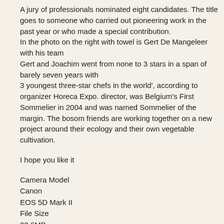A jury of professionals nominated eight candidates. The title goes to someone who carried out pioneering work in the past year or who made a special contribution. In the photo on the right with towel is Gert De Mangeleer with his team Gert and Joachim went from none to 3 stars in a span of barely seven years with 3 youngest three-star chefs in the world', according to organizer Horeca Expo. director, was Belgium's First Sommelier in 2004 and was named Sommelier of the margin. The bosom friends are working together on a new project around their ecology and their own vegetable cultivation.
I hope you like it
Camera Model
Canon
EOS 5D Mark II
File Size
23.6MB
Shooting Date/Time
29/10/2011 13:38:49
Owner's Name
Shooting Mode
Manual Exposure
Tv(Shutter Speed)
1/200
Av(Aperture Value)
3.2
ISO Speed
100
Lens
EF70-200mm f/2.8L IS USM
Focal Length
70.0mm
Image Size